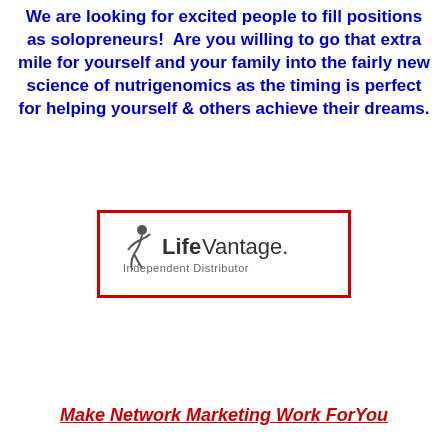We are looking for excited people to fill positions as solopreneurs! Are you willing to go that extra mile for yourself and your family into the fairly new science of nutrigenomics as the timing is perfect for helping yourself & others achieve their dreams.
[Figure (logo): LifeVantage Independent Distributor logo inside a red border rectangle]
Make Network Marketing Work ForYou